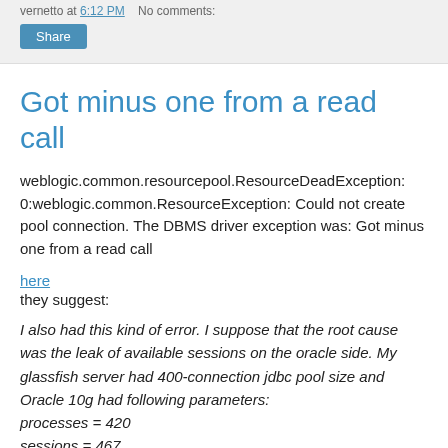vernetto at 6:12 PM   No comments:
Share
Got minus one from a read call
weblogic.common.resourcepool.ResourceDeadException: 0:weblogic.common.ResourceException: Could not create pool connection. The DBMS driver exception was: Got minus one from a read call
here
they suggest:
I also had this kind of error. I suppose that the root cause was the leak of available sessions on the oracle side. My glassfish server had 400-connection jdbc pool size and Oracle 10g had following parameters:
processes = 420
sessions = 467
transactions = 514
Every request to the DB failed with "IO Exception: Got minus